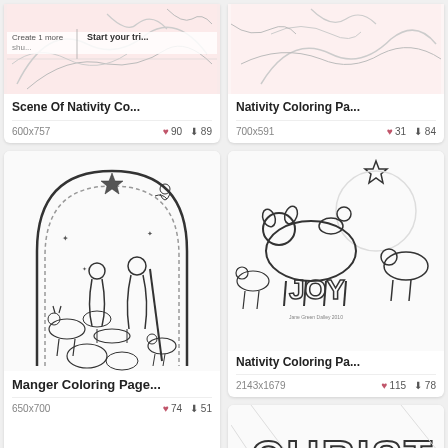[Figure (illustration): Partial nativity coloring page image (top cropped), with overlay text 'Create 1 more shu... image' and 'Start your tri...']
Scene Of Nativity Co...
600x757  ♥ 90  ⬇ 89
[Figure (illustration): Partial nativity coloring page image (top cropped)]
Nativity Coloring Pa...
700x591  ♥ 31  ⬇ 84
[Figure (illustration): Manger / nativity scene coloring page with arch, star, angel, Mary, Joseph, animals]
Manger Coloring Page...
650x700  ♥ 74  ⬇ 51
[Figure (illustration): Nativity coloring page with animals (cow, sheep) and JOY text, baby Jesus]
Nativity Coloring Pa...
2143x1679  ♥ 115  ⬇ 78
[Figure (illustration): Partial coloring page with CHRIST text visible at bottom]